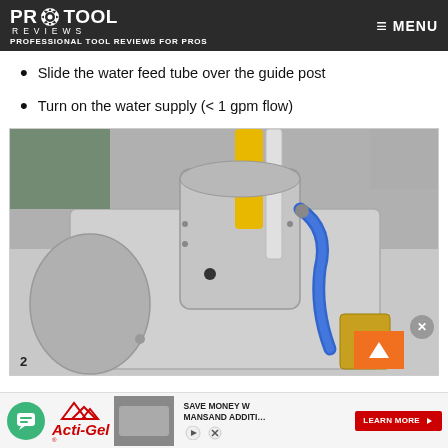PRO TOOL REVIEWS — PROFESSIONAL TOOL REVIEWS FOR PROS — MENU
Slide the water feed tube over the guide post
Turn on the water supply (< 1 gpm flow)
[Figure (photo): Close-up photo of a drill press or magnetic drill tool setup showing a silver/aluminum drill head with a blue braided water feed tube connected, a yellow guide post above, and the tool mounted on a metal surface with a small cup/container visible at the base right.]
2
SAVE MONEY W MANSAND ADDIT… LEARN MORE — Acti-Gel